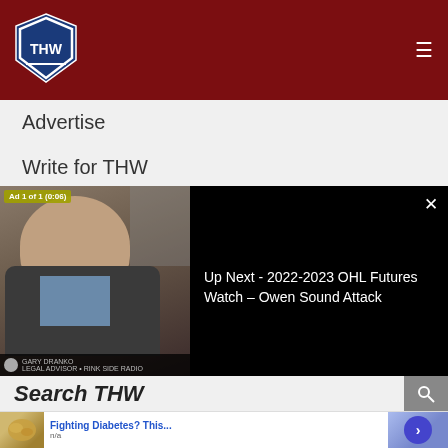THW - The Hockey Writers
Advertise
Write for THW
Masthead
Hockey Newsletter
Team Newsletters
RSS Feeds
Privacy Statement
[Figure (screenshot): Video overlay showing a man speaking to camera with 'Ad 1 of 1 (0:06)' badge, and a black panel on the right reading 'Up Next - 2022-2023 OHL Futures Watch – Owen Sound Attack' with a close button]
Search THW
[Figure (infographic): Advertisement banner: image of cashews, text 'Fighting Diabetes? This...' and 'n/a', blue circle button with right arrow]